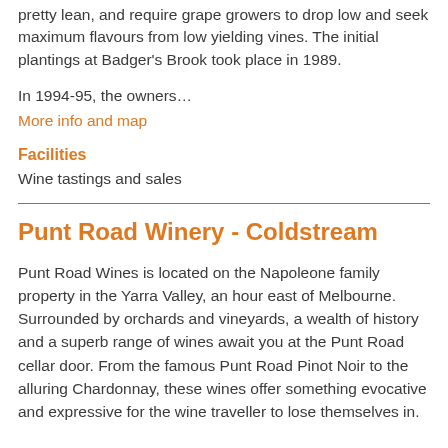pretty lean, and require grape growers to drop low and seek maximum flavours from low yielding vines. The initial plantings at Badger's Brook took place in 1989.
In 1994-95, the owners…
More info and map
Facilities
Wine tastings and sales
Punt Road Winery - Coldstream
Punt Road Wines is located on the Napoleone family property in the Yarra Valley, an hour east of Melbourne. Surrounded by orchards and vineyards, a wealth of history and a superb range of wines await you at the Punt Road cellar door. From the famous Punt Road Pinot Noir to the alluring Chardonnay, these wines offer something evocative and expressive for the wine traveller to lose themselves in.